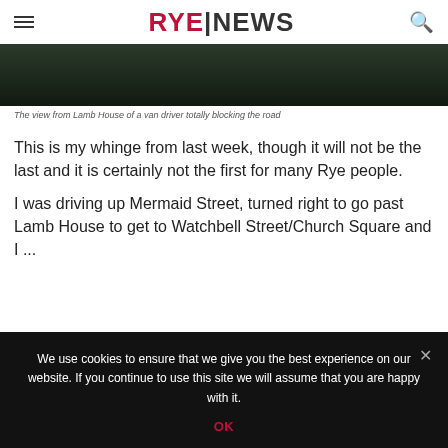RYE|NEWS
[Figure (photo): Dark image showing a view from Lamb House of a van blocking a road]
The view from Lamb House of a van driver totally blocking the road
This is my whinge from last week, though it will not be the last and it is certainly not the first for many Rye people.
I was driving up Mermaid Street, turned right to go past Lamb House to get to Watchbell Street/Church Square and ...
We use cookies to ensure that we give you the best experience on our website. If you continue to use this site we will assume that you are happy with it.
OK